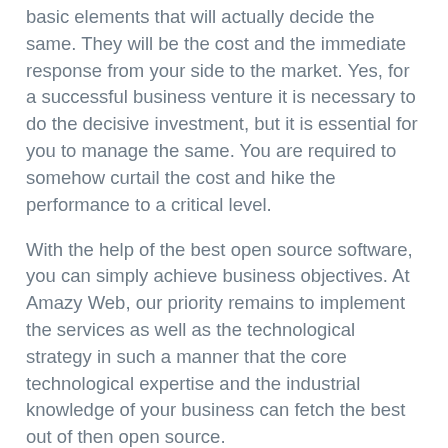basic elements that will actually decide the same. They will be the cost and the immediate response from your side to the market. Yes, for a successful business venture it is necessary to do the decisive investment, but it is essential for you to manage the same. You are required to somehow curtail the cost and hike the performance to a critical level.
With the help of the best open source software, you can simply achieve business objectives. At Amazy Web, our priority remains to implement the services as well as the technological strategy in such a manner that the core technological expertise and the industrial knowledge of your business can fetch the best out of then open source.
The presence of open source for the dynamic business growth
We all are well familiar with the fact that the open source is an integrated segment of the contemporary